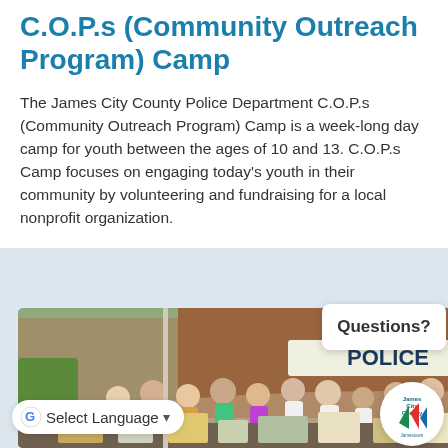C.O.P.s (Community Outreach Program) Camp
The James City County Police Department C.O.P.s (Community Outreach Program) Camp is a week-long day camp for youth between the ages of 10 and 13. C.O.P.s Camp focuses on engaging today's youth in their community by volunteering and fundraising for a local nonprofit organization.
[Figure (photo): Group photo of youth and police officers in tie-dye shirts in front of a Police building, with donated goods and boxes in the foreground.]
Questions?